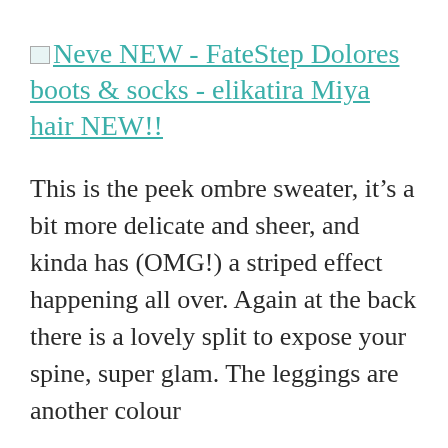Neve NEW - FateStep Dolores boots & socks - elikatira Miya hair NEW!!
This is the peek ombre sweater, it's a bit more delicate and sheer, and kinda has (OMG!) a striped effect happening all over. Again at the back there is a lovely split to expose your spine, super glam. The leggings are another colour